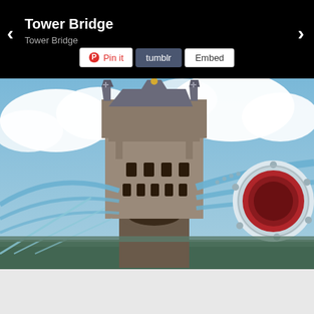Tower Bridge
Tower Bridge
[Figure (photo): Close-up photograph of Tower Bridge in London taken from the walkway level. The iconic Victorian Gothic tower is centered with blue steel cables and suspension chains sweeping to the right. A large white and red circular bolt/rivet element is visible in the foreground right. The sky is blue with white clouds.]